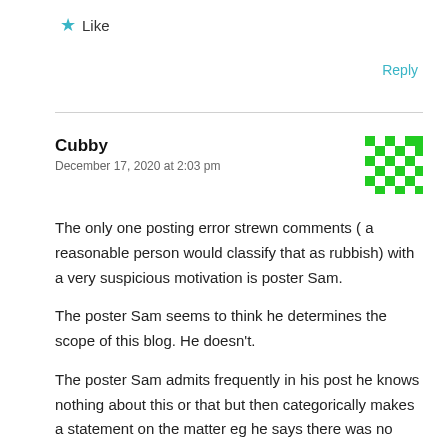★ Like
Reply
Cubby
December 17, 2020 at 2:03 pm
The only one posting error strewn comments ( a reasonable person would classify that as rubbish) with a very suspicious motivation is poster Sam.
The poster Sam seems to think he determines the scope of this blog. He doesn't.
The poster Sam admits frequently in his post he knows nothing about this or that but then categorically makes a statement on the matter eg he says there was no